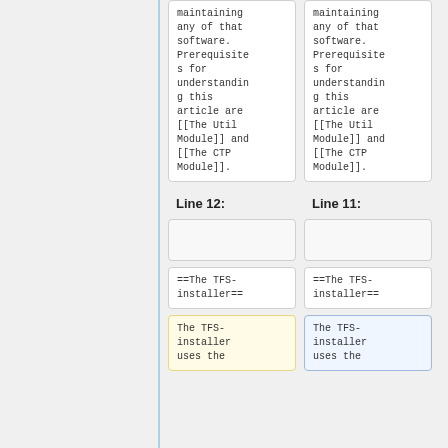maintaining any of that software. Prerequisites for understanding this article are [[The Util Module]] and [[The CTP Module]].
maintaining any of that software. Prerequisites for understanding this article are [[The Util Module]] and [[The CTP Module]].
Line 12:
Line 11:
==The TFS-installer==
==The TFS-installer==
The TFS-installer uses the
The TFS-installer uses the